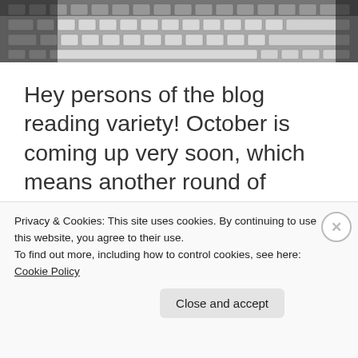[Figure (photo): Partial view of a white computer keyboard in black and white, cropped at top of page]
Hey persons of the blog reading variety! October is coming up very soon, which means another round of Animating Halloween is just around the corner. I'm very excited as always, but I do have an unfortunate update. It's been a bit of a tradition here for several years now to review the new seasons of Yami Shibai
Privacy & Cookies: This site uses cookies. By continuing to use this website, you agree to their use.
To find out more, including how to control cookies, see here: Cookie Policy
Close and accept